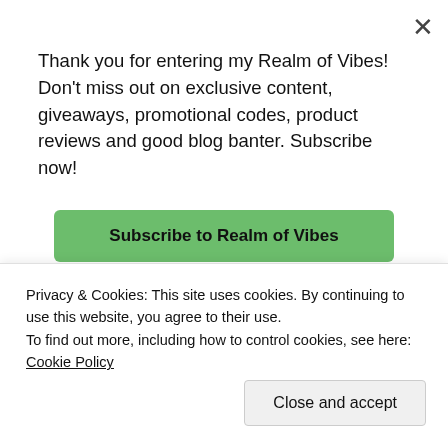[Figure (screenshot): Blog page background showing 'Business in the front...' headline and a peach/orange rounded box with 'WordPress' text in serif font]
Thank you for entering my Realm of Vibes! Don't miss out on exclusive content, giveaways, promotional codes, product reviews and good blog banter. Subscribe now!
Subscribe to Realm of Vibes
Privacy & Cookies: This site uses cookies. By continuing to use this website, you agree to their use.
To find out more, including how to control cookies, see here: Cookie Policy
Close and accept